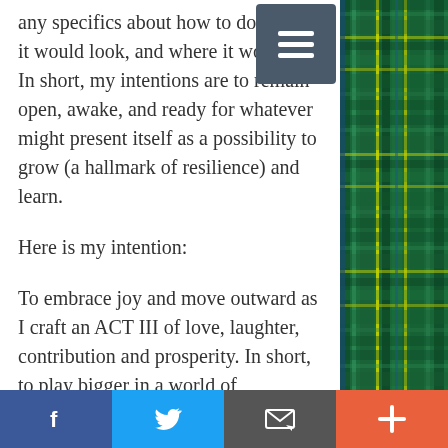any specifics about how to do it, what it would look, and where it would be. In short, my intentions are to remain open, awake, and ready for whatever might present itself as a possibility to grow (a hallmark of resilience) and learn.
Here is my intention:
To embrace joy and move outward as I craft an ACT III of love, laughter, contribution and prosperity. In short, to play bigger in a world of possibilities for a world of difference.
What does it actually look like? I have no idea. But that's okay. This is in itself...
[Figure (other): Social sharing bar with Facebook (blue), Twitter (light blue), Email/envelope (dark gray), and Plus/add (orange-red) buttons]